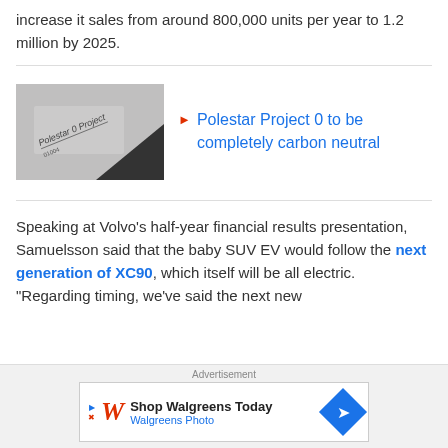increase it sales from around 800,000 units per year to 1.2 million by 2025.
[Figure (photo): Photo of a car badge or panel reading 'Polestar 0 Project']
Polestar Project 0 to be completely carbon neutral
Speaking at Volvo's half-year financial results presentation, Samuelsson said that the baby SUV EV would follow the next generation of XC90, which itself will be all electric. "Regarding timing, we've said the next new
Advertisement
[Figure (other): Advertisement banner for Walgreens: 'Shop Walgreens Today / Walgreens Photo']